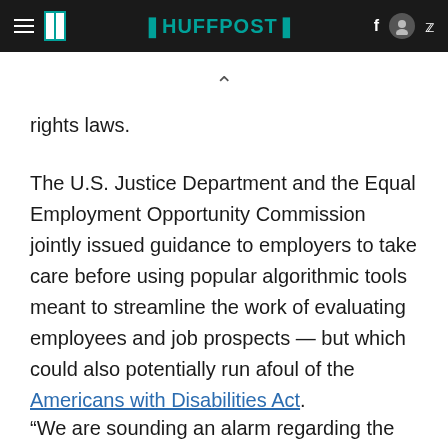HuffPost navigation bar
rights laws.
The U.S. Justice Department and the Equal Employment Opportunity Commission jointly issued guidance to employers to take care before using popular algorithmic tools meant to streamline the work of evaluating employees and job prospects — but which could also potentially run afoul of the Americans with Disabilities Act.
“We are sounding an alarm regarding the